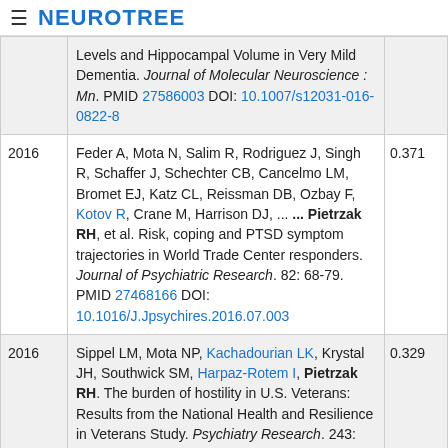≡ NEUROTREE
| Year | Reference | Score |
| --- | --- | --- |
|  | Levels and Hippocampal Volume in Very Mild Dementia. Journal of Molecular Neuroscience : Mn. PMID 27586003 DOI: 10.1007/s12031-016-0822-8 |  |
| 2016 | Feder A, Mota N, Salim R, Rodriguez J, Singh R, Schaffer J, Schechter CB, Cancelmo LM, Bromet EJ, Katz CL, Reissman DB, Ozbay F, Kotov R, Crane M, Harrison DJ, ... ... Pietrzak RH, et al. Risk, coping and PTSD symptom trajectories in World Trade Center responders. Journal of Psychiatric Research. 82: 68-79. PMID 27468166 DOI: 10.1016/J.Jpsychires.2016.07.003 | 0.371 |
| 2016 | Sippel LM, Mota NP, Kachadourian LK, Krystal JH, Southwick SM, Harpaz-Rotem I, Pietrzak RH. The burden of hostility in U.S. Veterans: Results from the National Health and Resilience in Veterans Study. Psychiatry Research. 243: 421-430. PMID 27450745 DOI: 10.1016/J.Psychres.2016.06.040 | 0.329 |